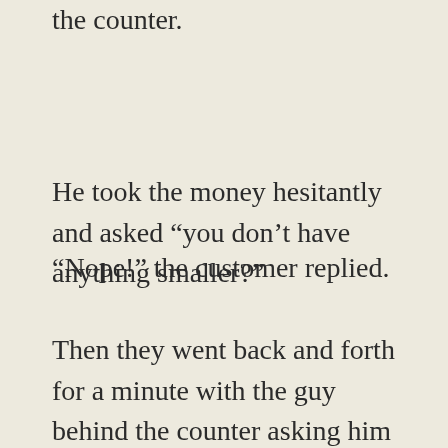the counter.
He took the money hesitantly and asked “you don’t have anything smaller?”
“Nope!” the customer replied.
Then they went back and forth for a minute with the guy behind the counter asking him if he has any change.